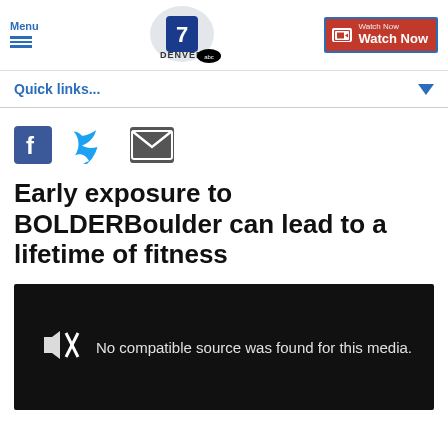Menu | Denver7 ABC | Watch Now
Quick links...
[Figure (screenshot): Social sharing icons: Facebook, Twitter, Email]
Early exposure to BOLDERBoulder can lead to a lifetime of fitness
[Figure (screenshot): Video player showing: No compatible source was found for this media.]